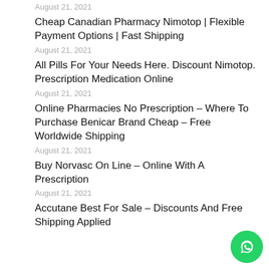August 21, 2021
Cheap Canadian Pharmacy Nimotop | Flexible Payment Options | Fast Shipping
August 21, 2021
All Pills For Your Needs Here. Discount Nimotop. Prescription Medication Online
August 21, 2021
Online Pharmacies No Prescription – Where To Purchase Benicar Brand Cheap – Free Worldwide Shipping
August 21, 2021
Buy Norvasc On Line – Online With A Prescription
August 21, 2021
Accutane Best For Sale – Discounts And Free Shipping Applied